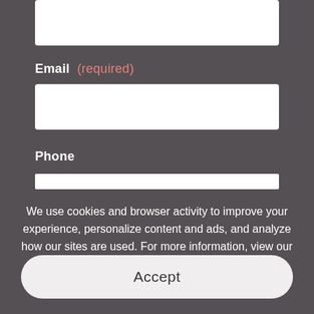[Figure (screenshot): White input field at the top of a form (partially visible)]
Email (required)
[Figure (screenshot): White input field for Email]
Phone
[Figure (screenshot): White input field for Phone]
We use cookies and browser activity to improve your experience, personalize content and ads, and analyze how our sites are used. For more information, view our Privacy Policy.
Accept